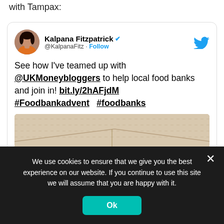with Tampax:
[Figure (screenshot): Embedded tweet from Kalpana Fitzpatrick (@KalpanaFitz) with verified badge and Follow button. Tweet text: 'See how I've teamed up with @UKMoneybloggers to help local food banks and join in! bit.ly/2hAFjdM #Foodbankadvent   #foodbanks'. Below the tweet text is a photo of a cardboard box.]
Privacy & Cookies: This site uses cookies. By continuing to use this
We use cookies to ensure that we give you the best experience on our website. If you continue to use this site we will assume that you are happy with it.
Ok